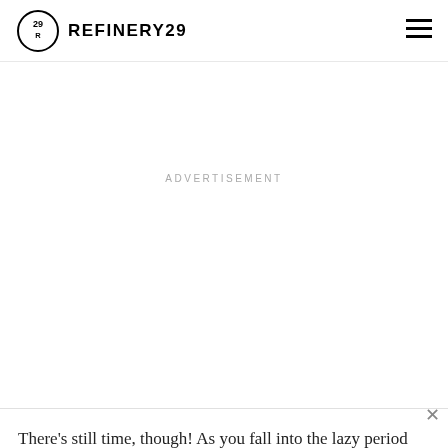REFINERY29
but forward. This is how apps like A-Champs create community engagement supported by without much failure.
ADVERTISEMENT
There's still time, though! As you fall into the lazy period